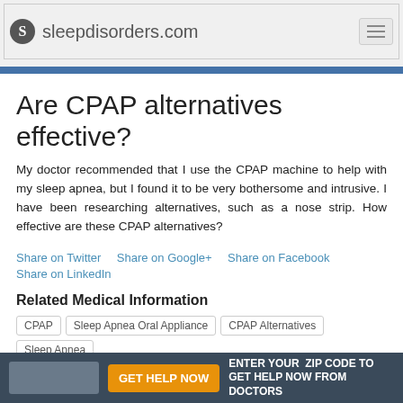sleepdisorders.com
Are CPAP alternatives effective?
My doctor recommended that I use the CPAP machine to help with my sleep apnea, but I found it to be very bothersome and intrusive. I have been researching alternatives, such as a nose strip. How effective are these CPAP alternatives?
Share on Twitter
Share on Google+
Share on Facebook
Share on LinkedIn
Related Medical Information
CPAP   Sleep Apnea Oral Appliance   CPAP Alternatives   Sleep Apnea
GET HELP NOW   ENTER YOUR ZIP CODE TO GET HELP NOW FROM DOCTORS